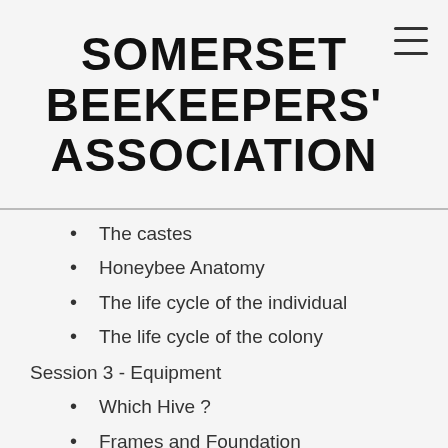SOMERSET BEEKEEPERS' ASSOCIATION
The castes
Honeybee Anatomy
The life cycle of the individual
The life cycle of the colony
Session 3 - Equipment
Which Hive ?
Frames and Foundation
Hive Stands
Apiary Siting and Layout
Session 4 - Principles of Bee Handling
Basic rules